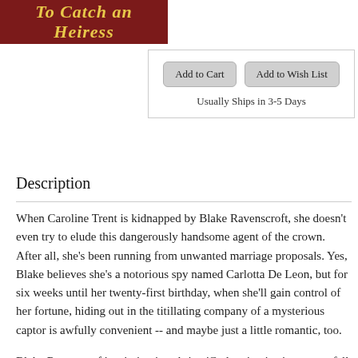[Figure (illustration): Book cover image with dark red background and gold italic title text partially visible at top]
Add to Cart   Add to Wish List
Usually Ships in 3-5 Days
Description
When Caroline Trent is kidnapped by Blake Ravenscroft, she doesn't even try to elude this dangerously handsome agent of the crown. After all, she's been running from unwanted marriage proposals. Yes, Blake believes she's a notorious spy named Carlotta De Leon, but for six weeks until her twenty-first birthday, when she'll gain control of her fortune, hiding out in the titillating company of a mysterious captor is awfully convenient -- and maybe just a little romantic, too.
Blake Ravenscroft's mission is to bring 'Carlotta' to justice, not to fall in love. His heart has been hardened by years of intrigue, but this little temptress proves oddly disarming and thoroughly kissable. And suddenly the unthinkable becomes